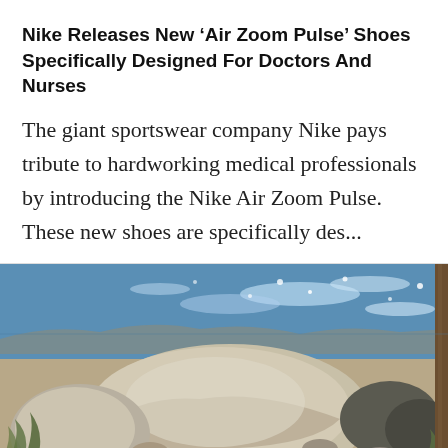Nike Releases New ‘Air Zoom Pulse’ Shoes Specifically Designed For Doctors And Nurses
The giant sportswear company Nike pays tribute to hardworking medical professionals by introducing the Nike Air Zoom Pulse. These new shoes are specifically des...
[Figure (photo): Coastal rocky shore scene with large boulders in the foreground, blue sparkling sea in the background, and rocky beach terrain. A tree trunk is partially visible on the right edge.]
[Figure (photo): Partially visible bottom image showing colorful out-of-focus objects on a light background, cropped at the bottom of the page.]